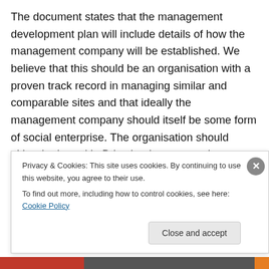The document states that the management development plan will include details of how the management company will be established. We believe that this should be an organisation with a proven track record in managing similar and comparable sites and that ideally the management company should itself be some form of social enterprise. The organisation should either be based in Bristol or have a good knowledge of the city. The management company should foster and support start-up businesses, should be hands-on in its management style and should actively work towards achieving and
Privacy & Cookies: This site uses cookies. By continuing to use this website, you agree to their use.
To find out more, including how to control cookies, see here: Cookie Policy